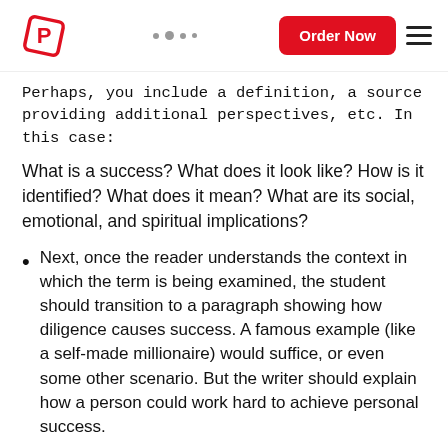P logo | dots | Order Now | hamburger menu
Perhaps, you include a definition, a source providing additional perspectives, etc. In this case:
What is a success? What does it look like? How is it identified? What does it mean? What are its social, emotional, and spiritual implications?
Next, once the reader understands the context in which the term is being examined, the student should transition to a paragraph showing how diligence causes success. A famous example (like a self-made millionaire) would suffice, or even some other scenario. But the writer should explain how a person could work hard to achieve personal success.